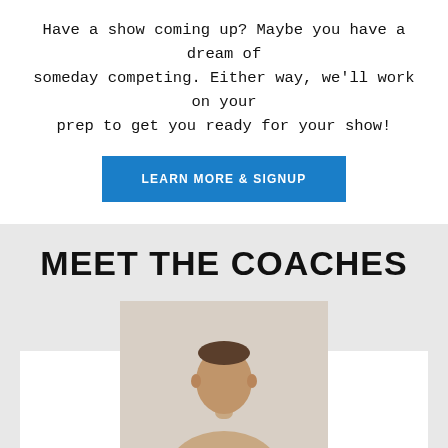Have a show coming up? Maybe you have a dream of someday competing. Either way, we'll work on your prep to get you ready for your show!
LEARN MORE & SIGNUP
MEET THE COACHES
[Figure (photo): Partial photo of a male coach from the shoulders up, against a light beige/cream background, flanked by two white card placeholders on either side.]